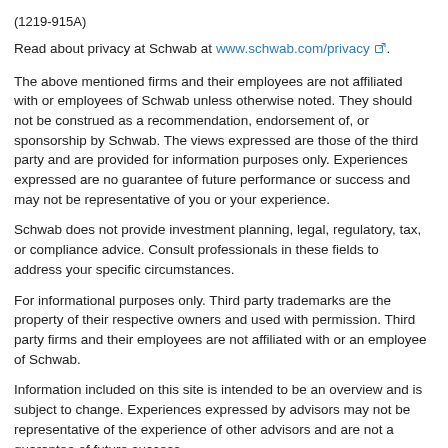(1219-915A)
Read about privacy at Schwab at www.schwab.com/privacy ↗.
The above mentioned firms and their employees are not affiliated with or employees of Schwab unless otherwise noted. They should not be construed as a recommendation, endorsement of, or sponsorship by Schwab. The views expressed are those of the third party and are provided for information purposes only. Experiences expressed are no guarantee of future performance or success and may not be representative of you or your experience.
Schwab does not provide investment planning, legal, regulatory, tax, or compliance advice. Consult professionals in these fields to address your specific circumstances.
For informational purposes only. Third party trademarks are the property of their respective owners and used with permission. Third party firms and their employees are not affiliated with or an employee of Schwab.
Information included on this site is intended to be an overview and is subject to change. Experiences expressed by advisors may not be representative of the experience of other advisors and are not a guarantee of future success.
Schwab Advisor Services serves independent investment advisors and includes the custody, trading and support services of Schwab. Independent investment advisors are not owned by, affiliated with